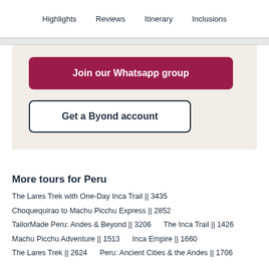Highlights   Reviews   Itinerary   Inclusions
Join our Whatsapp group
Get a Byond account
More tours for Peru
The Lares Trek with One-Day Inca Trail || 3435
Choquequirao to Machu Picchu Express || 2852
TailorMade Peru: Andes & Beyond || 3206     The Inca Trail || 1426
Machu Picchu Adventure || 1513     Inca Empire || 1660
The Lares Trek || 2624     Peru: Ancient Cities & the Andes || 1706